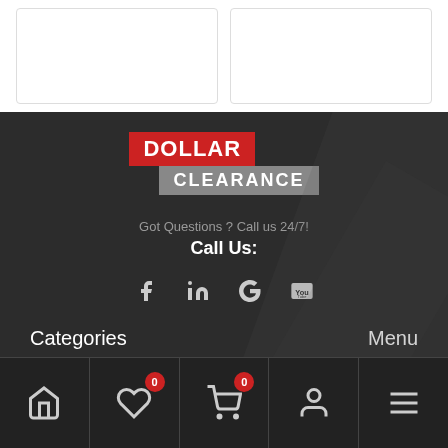[Figure (screenshot): Two white card placeholders side by side at top of page]
[Figure (logo): Dollar Clearance logo with red DOLLAR block and gray CLEARANCE block]
Got Questions ? Call us 24/7!
Call Us:
[Figure (infographic): Social media icons: Facebook, LinkedIn, Google, YouTube]
Categories
Menu
[Figure (infographic): Bottom navigation bar with Home, Wishlist (0), Cart (0), Account, Menu icons]